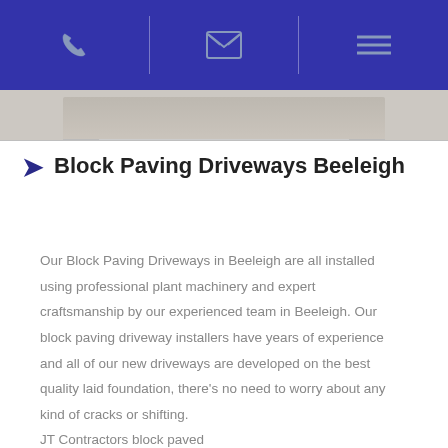Phone | Email | Menu
[Figure (photo): Partial image of a driveway or paving surface at the top of the page, cropped by the header bar]
Block Paving Driveways Beeleigh
Our Block Paving Driveways in Beeleigh are all installed using professional plant machinery and expert craftsmanship by our experienced team in Beeleigh. Our block paving driveway installers have years of experience and all of our new driveways are developed on the best quality laid foundation, there's no need to worry about any kind of cracks or shifting. JT Contractors block paved